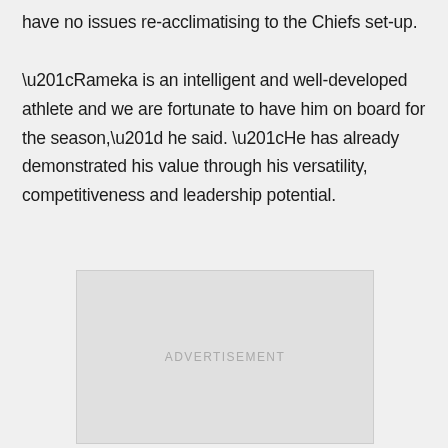have no issues re-acclimatising to the Chiefs set-up.

“Rameka is an intelligent and well-developed athlete and we are fortunate to have him on board for the season,” he said. “He has already demonstrated his value through his versatility, competitiveness and leadership potential.
[Figure (other): Advertisement placeholder box with the text ADVERTISEMENT centered in gray.]